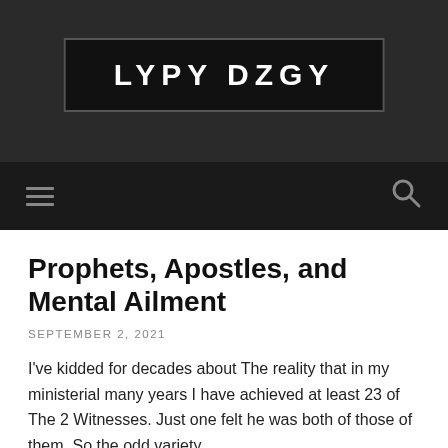LYPY DZGY
Prophets, Apostles, and Mental Ailment
SEPTEMBER 2, 2021
I've kidded for decades about The reality that in my ministerial many years I have achieved at least 23 of The 2 Witnesses. Just one felt he was both of those of them, So the odd variety.